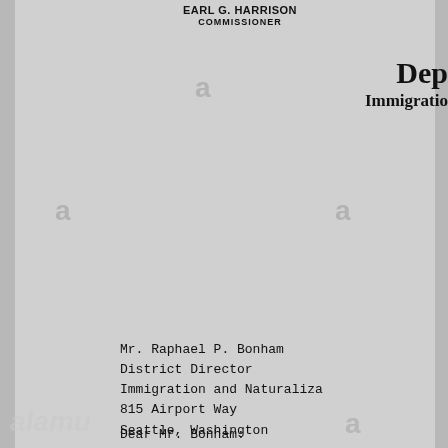EARL G. HARRISON
COMMISSIONER
Dep
Immigratio
Mr. Raphael P. Bonham
District Director
Immigration and Naturaliza
815 Airport Way
Seattle, Washington
Dear Mr. Bonham: